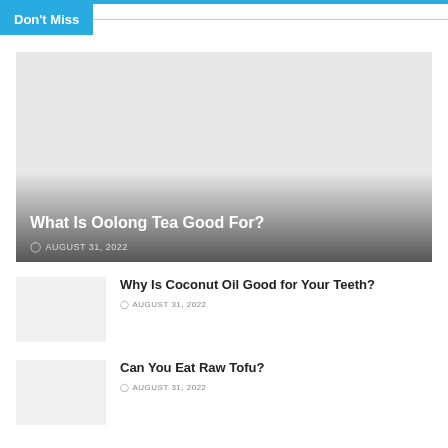Don't Miss
[Figure (photo): Featured article image placeholder for 'What Is Oolong Tea Good For?' with dark gradient overlay at bottom]
What Is Oolong Tea Good For?
AUGUST 31, 2022
[Figure (photo): Thumbnail placeholder for 'Why Is Coconut Oil Good for Your Teeth?']
Why Is Coconut Oil Good for Your Teeth?
AUGUST 31, 2022
[Figure (photo): Thumbnail placeholder for 'Can You Eat Raw Tofu?']
Can You Eat Raw Tofu?
AUGUST 31, 2022